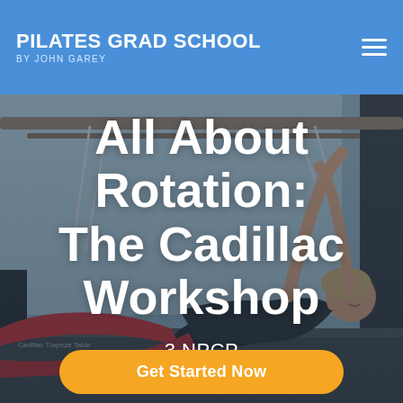PILATES GRAD SCHOOL BY JOHN GAREY
[Figure (photo): Woman performing a Pilates rotation exercise on a Cadillac/Trapeze Table apparatus, wearing red leggings and black top, stretching sideways with arms raised]
All About Rotation: The Cadillac Workshop
3 NPCP
Get Started Now